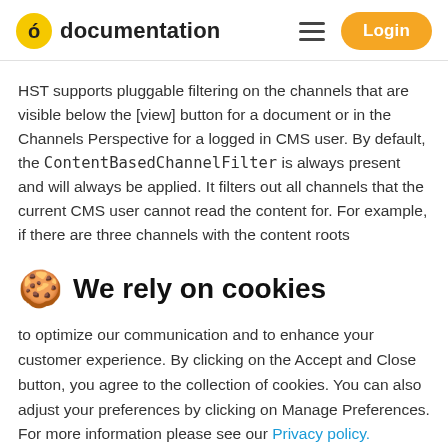documentation | Login
HST supports pluggable filtering on the channels that are visible below the [view] button for a document or in the Channels Perspective for a logged in CMS user. By default, the ContentBasedChannelFilter is always present and will always be applied. It filters out all channels that the current CMS user cannot read the content for. For example, if there are three channels with the content roots
🍪 We rely on cookies
to optimize our communication and to enhance your customer experience. By clicking on the Accept and Close button, you agree to the collection of cookies. You can also adjust your preferences by clicking on Manage Preferences. For more information please see our Privacy policy.